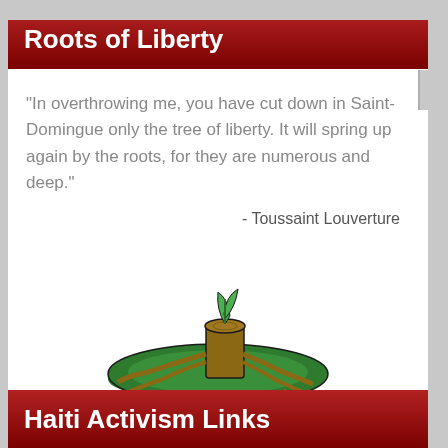Roots of Liberty
"In overthrowing me, you have cut down in Saint-Domingue only the tree of liberty. It will spring up again by the roots, for they are numerous and deep."
- Toussaint Louverture
[Figure (illustration): Illustration of a tree stump with roots and green foliage spreading across the ground, with visible root systems hanging below]
Haiti Activism Links